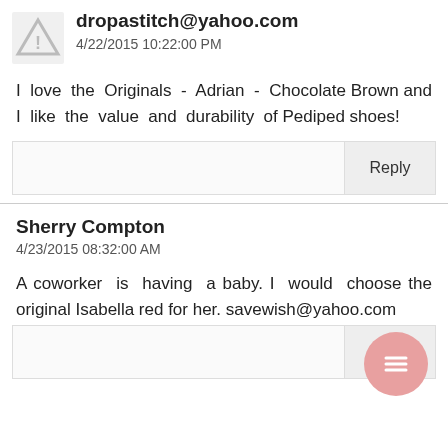dropastitch@yahoo.com
4/22/2015 10:22:00 PM
I love the Originals - Adrian - Chocolate Brown and I like the value and durability of Pediped shoes!
Reply
Sherry Compton
4/23/2015 08:32:00 AM
A coworker is having a baby. I would choose the original Isabella red for her. savewish@yahoo.com
Reply